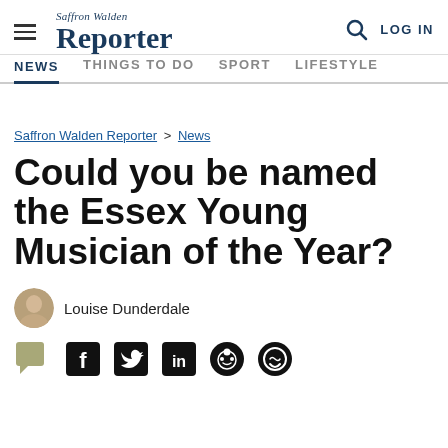Saffron Walden Reporter — NEWS | THINGS TO DO | SPORT | LIFESTYLE | LOG IN
Saffron Walden Reporter > News
Could you be named the Essex Young Musician of the Year?
Louise Dunderdale